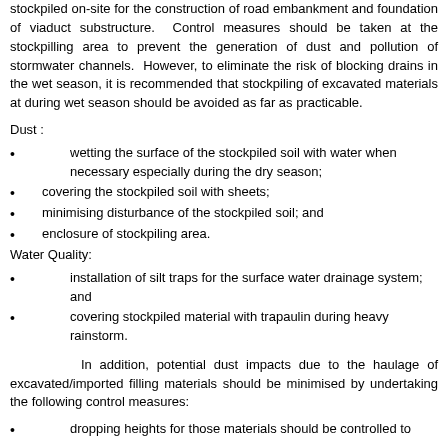stockpiled on-site for the construction of road embankment and foundation of viaduct substructure. Control measures should be taken at the stockpilling area to prevent the generation of dust and pollution of stormwater channels. However, to eliminate the risk of blocking drains in the wet season, it is recommended that stockpiling of excavated materials at during wet season should be avoided as far as practicable.
Dust :
wetting the surface of the stockpiled soil with water when necessary especially during the dry season;
covering the stockpiled soil with sheets;
minimising disturbance of the stockpiled soil; and
enclosure of stockpiling area.
Water Quality:
installation of silt traps for the surface water drainage system; and
covering stockpiled material with trapaulin during heavy rainstorm.
In addition, potential dust impacts due to the haulage of excavated/imported filling materials should be minimised by undertaking the following control measures:
dropping heights for those materials should be controlled to